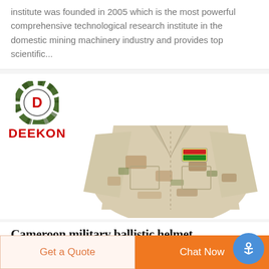institute was founded in 2005 which is the most powerful comprehensive technological research institute in the domestic mining machinery industry and provides top scientific...
[Figure (logo): DEEKON company logo: a circular camouflage-pattern emblem with a red letter D in the center, and bold red text DEEKON below]
[Figure (photo): A desert camouflage military jacket/shirt with a patch on the chest, displayed on a white background]
Cameroon military ballistic helmet
Get a Quote
Chat Now